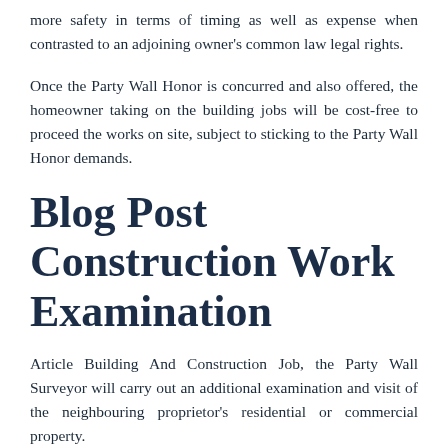more safety in terms of timing as well as expense when contrasted to an adjoining owner's common law legal rights.
Once the Party Wall Honor is concurred and also offered, the homeowner taking on the building jobs will be cost-free to proceed the works on site, subject to sticking to the Party Wall Honor demands.
Blog Post Construction Work Examination
Article Building And Construction Job, the Party Wall Surveyor will carry out an additional examination and visit of the neighbouring proprietor's residential or commercial property.